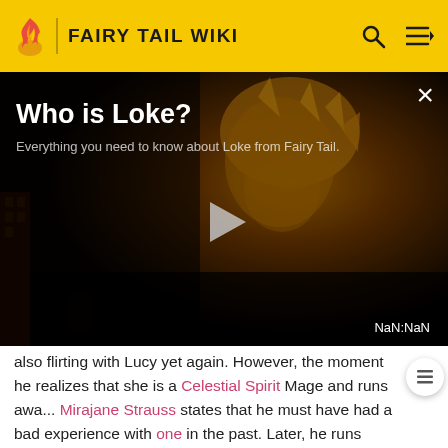FAIRY TAIL WIKI
[Figure (screenshot): Video thumbnail for 'Who is Loke?' featuring anime character from Fairy Tail with orange spiky hair, dark background. Overlaid text: 'Who is Loke?' and 'Everything you need to know about Loke from Fairy Tail.' A play button triangle is visible in the center, and 'NaN:NaN' timer badge at bottom right. Close (×) button at top right.]
also flirting with Lucy yet again. However, the moment he realizes that she is a Celestial Spirit Mage and runs awa... Mirajane Strauss states that he must have had a bad experience with one in the past. Later, he runs back to the guild to inform Natsu and Gray that Erza has returned.[30] Mirajane also says that Loke had tried flirting with Erza...